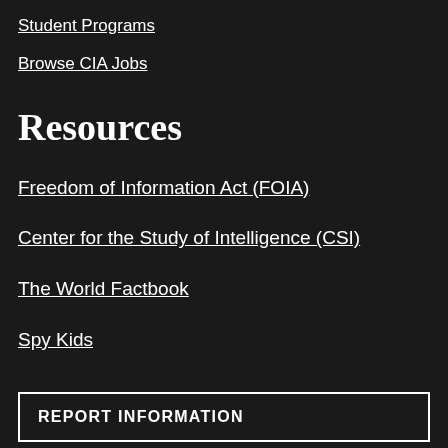Student Programs
Browse CIA Jobs
Resources
Freedom of Information Act (FOIA)
Center for the Study of Intelligence (CSI)
The World Factbook
Spy Kids
REPORT INFORMATION